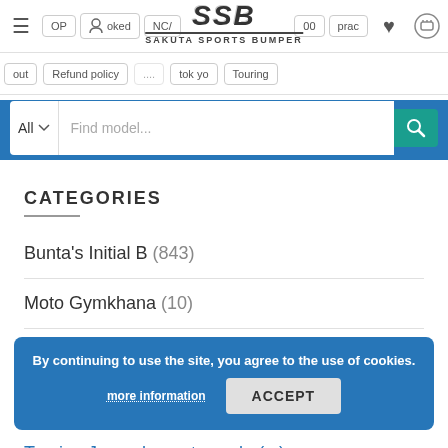SSB - SAKUTA SPORTS BUMPER - website header with navigation, logo, and search bar
[Figure (logo): SSB Sakuta Sports Bumper logo with stylized SSB text and underline]
CATEGORIES
Bunta's Initial B (843)
Moto Gymkhana (10)
Motocycles (12)
Riding (9)
Touring Japan by motorcycle (...)
Tournament Video Archive (2)
By continuing to use the site, you agree to the use of cookies. more information ACCEPT